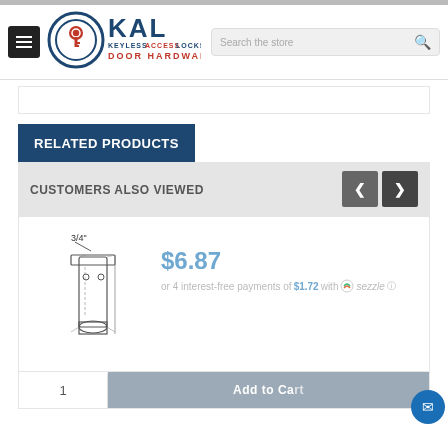[Figure (logo): KAL Keyless Access Locks Door Hardware logo with circular emblem]
RELATED PRODUCTS
CUSTOMERS ALSO VIEWED
[Figure (illustration): Technical drawing of a door hardware component labeled 3/4 inch]
$6.87
or 4 interest-free payments of $1.72 with sezzle
Add to Cart